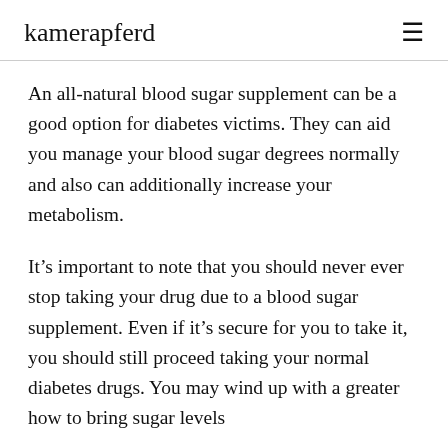kamerapferd
An all-natural blood sugar supplement can be a good option for diabetes victims. They can aid you manage your blood sugar degrees normally and also can additionally increase your metabolism.
It’s important to note that you should never ever stop taking your drug due to a blood sugar supplement. Even if it’s secure for you to take it, you should still proceed taking your normal diabetes drugs. You may wind up with a greater how to bring sugar levels